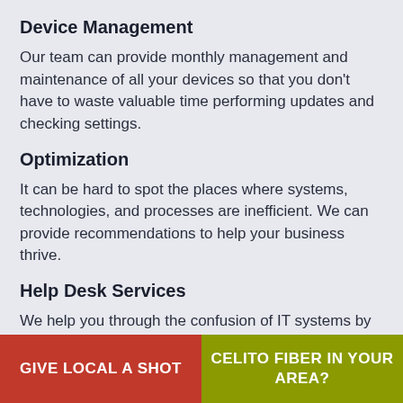Device Management
Our team can provide monthly management and maintenance of all your devices so that you don't have to waste valuable time performing updates and checking settings.
Optimization
It can be hard to spot the places where systems, technologies, and processes are inefficient. We can provide recommendations to help your business thrive.
Help Desk Services
We help you through the confusion of IT systems by
GIVE LOCAL A SHOT | CELITO FIBER IN YOUR AREA?